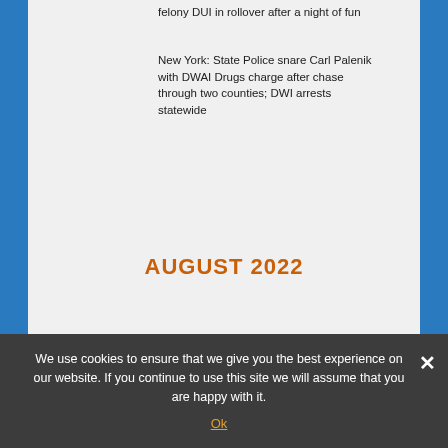felony DUI in rollover after a night of fun
New York: State Police snare Carl Palenik with DWAI Drugs charge after chase through two counties; DWI arrests statewide
AUGUST 2022
We use cookies to ensure that we give you the best experience on our website. If you continue to use this site we will assume that you are happy with it.
Ok